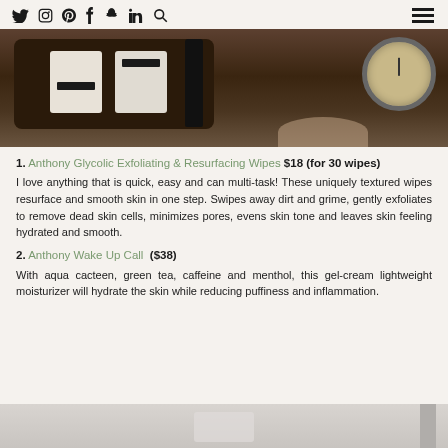Social media icons (Twitter, Instagram, Pinterest, Facebook, Snapchat, LinkedIn, Search) and hamburger menu
[Figure (photo): Photo of skincare/grooming products including tubes and a dark bottle arranged on a dark wooden surface, with a watch visible in the upper right corner]
1. Anthony Glycolic Exfoliating & Resurfacing Wipes $18 (for 30 wipes)
I love anything that is quick, easy and can multi-task! These uniquely textured wipes resurface and smooth skin in one step. Swipes away dirt and grime, gently exfoliates to remove dead skin cells, minimizes pores, evens skin tone and leaves skin feeling hydrated and smooth.
2. Anthony Wake Up Call ($38)
With aqua cacteen, green tea, caffeine and menthol, this gel-cream lightweight moisturizer will hydrate the skin while reducing puffiness and inflammation.
[Figure (photo): Partial photo visible at bottom of page showing grooming/skincare products on a light surface]